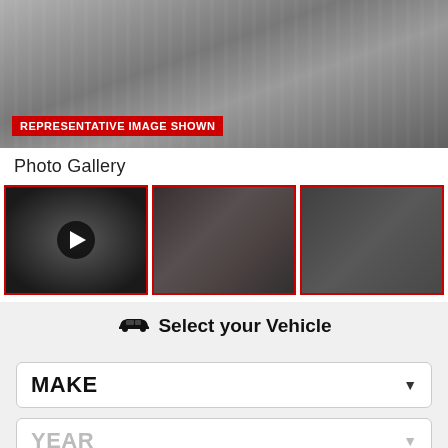[Figure (photo): Hero product photo of a trunk/cargo mat liner, gray rubber texture, viewed from above at an angle. Part of the mat corners and surface pattern visible.]
REPRESENTATIVE IMAGE SHOWN
Photo Gallery
[Figure (photo): Video thumbnail of cargo mat installed in a vehicle trunk, dark background with a centered play button circle.]
[Figure (photo): Photo of a black rubber cargo mat installed in a dark vehicle trunk area, showing side walls of trunk.]
[Figure (photo): Close-up photo of a dark rubber cargo mat surface texture, showing ridged/dimpled pattern and raised edge border.]
Select your Vehicle
MAKE
YEAR